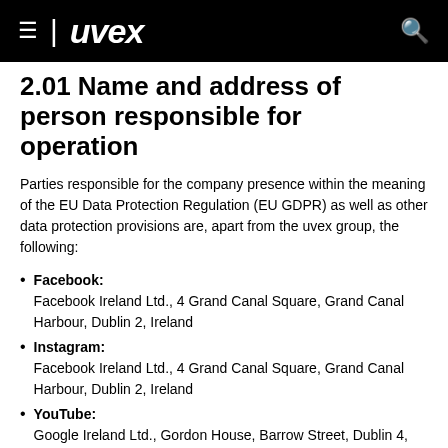uvex
2.01 Name and address of person responsible for operation
Parties responsible for the company presence within the meaning of the EU Data Protection Regulation (EU GDPR) as well as other data protection provisions are, apart from the uvex group, the following:
Facebook:
Facebook Ireland Ltd., 4 Grand Canal Square, Grand Canal Harbour, Dublin 2, Ireland
Instagram:
Facebook Ireland Ltd., 4 Grand Canal Square, Grand Canal Harbour, Dublin 2, Ireland
YouTube:
Google Ireland Ltd., Gordon House, Barrow Street, Dublin 4, Ireland